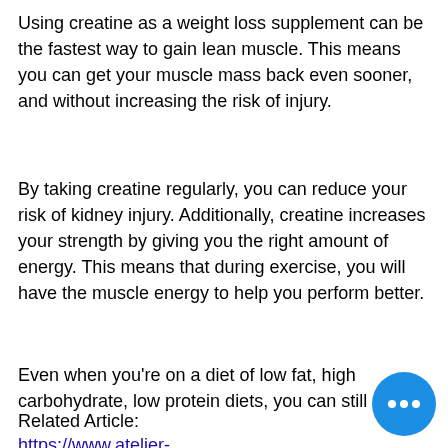Using creatine as a weight loss supplement can be the fastest way to gain lean muscle. This means you can get your muscle mass back even sooner, and without increasing the risk of injury.
By taking creatine regularly, you can reduce your risk of kidney injury. Additionally, creatine increases your strength by giving you the right amount of energy. This means that during exercise, you will have the muscle energy to help you perform better.
Even when you're on a diet of low fat, high carbohydrate, low protein diets, you can still gain
Related Article:
https://www.atelier-ishii.com/profile/paulinascontras14031e